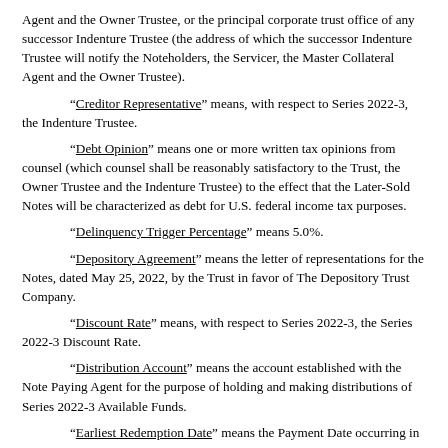Agent and the Owner Trustee, or the principal corporate trust office of any successor Indenture Trustee (the address of which the successor Indenture Trustee will notify the Noteholders, the Servicer, the Master Collateral Agent and the Owner Trustee).
“Creditor Representative” means, with respect to Series 2022-3, the Indenture Trustee.
“Debt Opinion” means one or more written tax opinions from counsel (which counsel shall be reasonably satisfactory to the Trust, the Owner Trustee and the Indenture Trustee) to the effect that the Later-Sold Notes will be characterized as debt for U.S. federal income tax purposes.
“Delinquency Trigger Percentage” means 5.0%.
“Depository Agreement” means the letter of representations for the Notes, dated May 25, 2022, by the Trust in favor of The Depository Trust Company.
“Discount Rate” means, with respect to Series 2022-3, the Series 2022-3 Discount Rate.
“Distribution Account” means the account established with the Note Paying Agent for the purpose of holding and making distributions of Series 2022-3 Available Funds.
“Earliest Redemption Date” means the Payment Date occurring in June 2023.